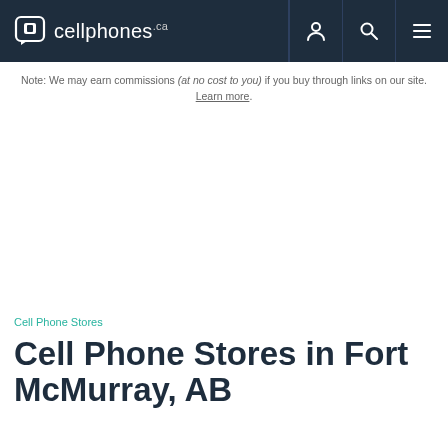cellphones.ca
Note: We may earn commissions (at no cost to you) if you buy through links on our site. Learn more.
Cell Phone Stores
Cell Phone Stores in Fort McMurray, AB